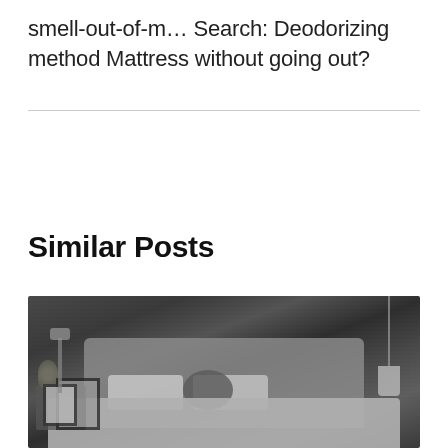smell-out-of-m… Search: Deodorizing method Mattress without going out?
Similar Posts
[Figure (photo): Black and white photo of a stylish bedroom with a tufted headboard, pillows including a knot pillow, a desk lamp on a nightstand with framed pictures, a pendant lamp on the right, and a plant on the nightstand.]